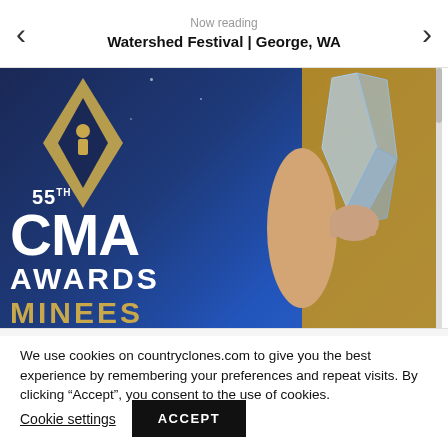Now reading
Watershed Festival | George, WA
[Figure (photo): Photo of 55th CMA Awards backdrop with gold diamond logo, CMA AWARDS text in white, NOMINEES in gold at bottom, and a person in gold/yellow dress holding a glass award trophy on the right side.]
We use cookies on countryclones.com to give you the best experience by remembering your preferences and repeat visits. By clicking “Accept”, you consent to the use of cookies.
Cookie settings
ACCEPT